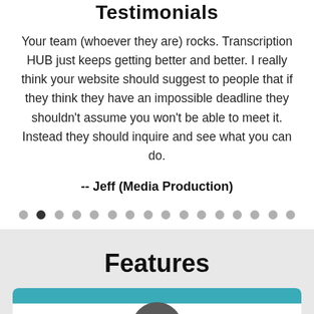Testimonials
Your team (whoever they are) rocks. Transcription HUB just keeps getting better and better. I really think your website should suggest to people that if they think they have an impossible deadline they shouldn't assume you won't be able to meet it. Instead they should inquire and see what you can do.
-- Jeff (Media Production)
[Figure (other): Carousel navigation dots, 16 dots total, second dot is active/dark]
Features
[Figure (other): Card with teal header bar and white body with partially visible avatar circle at bottom]